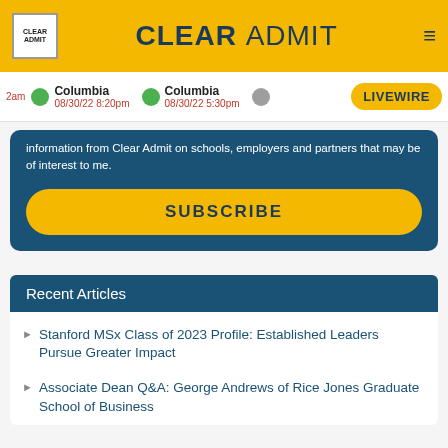CLEAR ADMIT
Columbia 08/30/22 8:20pm | Columbia 08/30/22 5:30pm | LIVEWIRE
information from Clear Admit on schools, employers and partners that may be of interest to me.
SUBSCRIBE
Recent Articles
Stanford MSx Class of 2023 Profile: Established Leaders Pursue Greater Impact
Associate Dean Q&A: George Andrews of Rice Jones Graduate School of Business